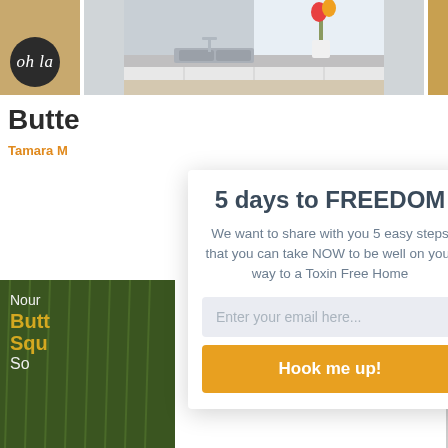[Figure (photo): Top image strip with three sections: left tan/khaki background with dark circle containing cursive 'oh la' text; center kitchen photo with white cabinets and sink; right orange/gold strip]
Butte
Tamara M
5 days to FREEDOM
We want to share with you 5 easy steps that you can take NOW to be well on your way to a Toxin Free Home
Enter your email here...
Hook me up!
[Figure (photo): Bottom left image showing green grass or garden background with partial text: 'Nour', 'Butt', 'Squ', 'So' in white and gold colors]